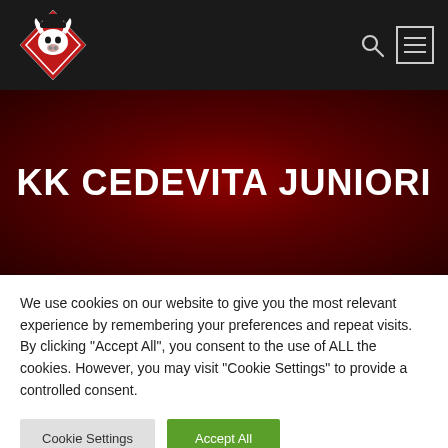[Figure (logo): KK Cedevita Juniori bull logo on dark background navigation bar with search and hamburger menu icons]
KK CEDEVITA JUNIORI
We use cookies on our website to give you the most relevant experience by remembering your preferences and repeat visits. By clicking "Accept All", you consent to the use of ALL the cookies. However, you may visit "Cookie Settings" to provide a controlled consent.